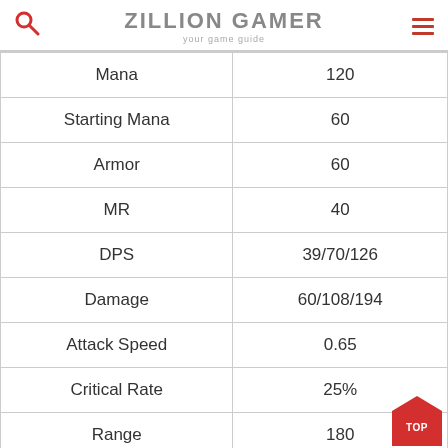ZILLION GAMER — your game guide
|  |  |
| --- | --- |
| Mana | 120 |
| Starting Mana | 60 |
| Armor | 60 |
| MR | 40 |
| DPS | 39/70/126 |
| Damage | 60/108/194 |
| Attack Speed | 0.65 |
| Critical Rate | 25% |
| Range | 180 |